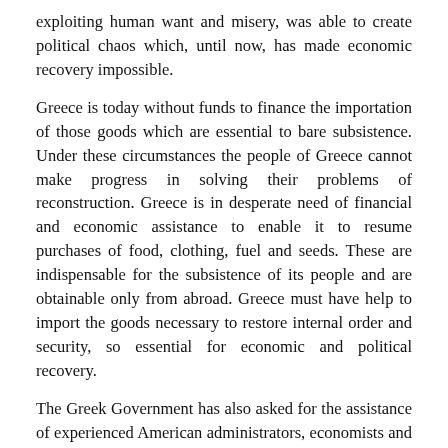exploiting human want and misery, was able to create political chaos which, until now, has made economic recovery impossible.
Greece is today without funds to finance the importation of those goods which are essential to bare subsistence. Under these circumstances the people of Greece cannot make progress in solving their problems of reconstruction. Greece is in desperate need of financial and economic assistance to enable it to resume purchases of food, clothing, fuel and seeds. These are indispensable for the subsistence of its people and are obtainable only from abroad. Greece must have help to import the goods necessary to restore internal order and security, so essential for economic and political recovery.
The Greek Government has also asked for the assistance of experienced American administrators, economists and technicians to insure that the financial and other aid given to Greece shall be used effectively in creating a stable and self-sustaining economy and in improving its public administration.
The very existence of the Greek state is today threatened by the terrorist activities of several thousand armed men, led by